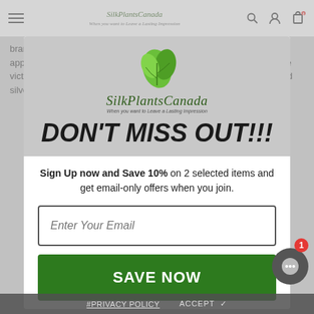SilkPlantsCanada — nav bar with hamburger menu, logo, search, account, cart icons
branch of the art attained a degree of perfection which has not been approached in modern times. us, renowned for his wealth, gave to the victors in the g... some crowns of artificial leaves made of gold and silver.
DON'T MISS OUT!!!
Sign Up now and Save 10% on 2 selected items and get email-only offers when you join.
Enter Your Email
SAVE NOW
PRIVACY POLICY   ACCEPT ✓